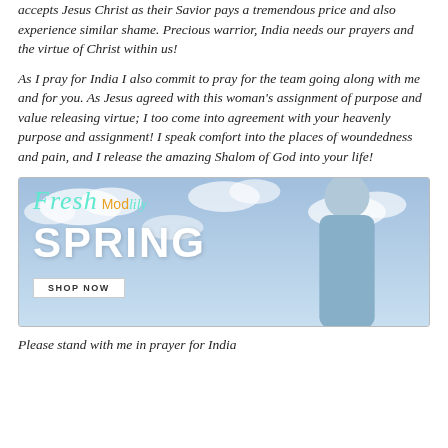accepts Jesus Christ as their Savior pays a tremendous price and also experience similar shame. Precious warrior, India needs our prayers and the virtue of Christ within us!
As I pray for India I also commit to pray for the team going along with me and for you. As Jesus agreed with this woman's assignment of purpose and value releasing virtue; I too come into agreement with your heavenly purpose and assignment! I speak comfort into the places of woundedness and pain, and I release the amazing Shalom of God into your life!
[Figure (illustration): Advertisement banner for Modlily fashion brand featuring a woman in a blue top against a cloudy sky background. Text reads 'Fresh Modlily SPRING' with a 'SHOP NOW' button.]
Please stand with me in prayer for India